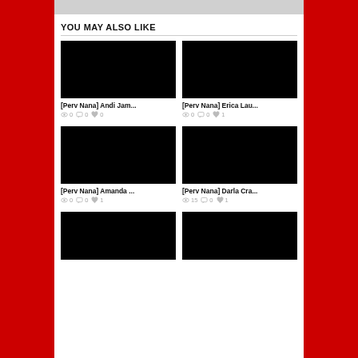YOU MAY ALSO LIKE
[Figure (photo): Black thumbnail image for [Perv Nana] Andi Jam...]
[Perv Nana] Andi Jam...
0  0  0
[Figure (photo): Black thumbnail image for [Perv Nana] Erica Lau...]
[Perv Nana] Erica Lau...
0  0  1
[Figure (photo): Black thumbnail image for [Perv Nana] Amanda ...]
[Perv Nana] Amanda ...
0  0  1
[Figure (photo): Black thumbnail image for [Perv Nana] Darla Cra...]
[Perv Nana] Darla Cra...
15  0  1
[Figure (photo): Black thumbnail image (bottom left, partially visible)]
[Figure (photo): Black thumbnail image (bottom right, partially visible)]